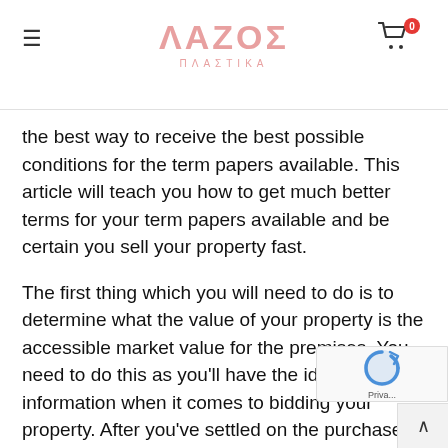≡  ΛΑΖΟΣ ΠΛΑΣΤΙΚΑ  🛒 0
the best way to receive the best possible conditions for the term papers available. This article will teach you how to get much better terms for your term papers available and be certain you sell your property fast.
The first thing which you will need to do is to determine what the value of your property is the accessible market value for the premises. You need to do this as you'll have the ideal information when it comes to bidding your property. After you've settled on the purchase price, you'll need to head out and get the essential documents. These records are essential as it's the only means to ensure you have the right paperwork to back up your document
The next thing, once you have the needed papers is online and search for sites that deal with term papers for